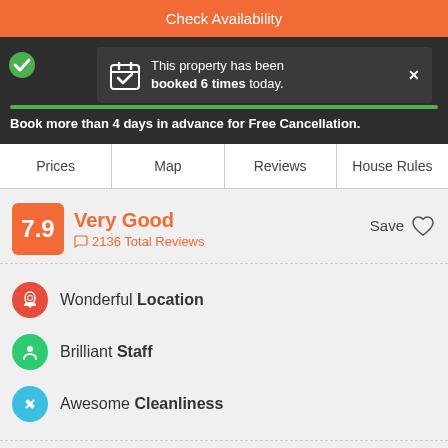Check Availability
This property has been booked 6 times today.
Book more than 4 days in advance for Free Cancellation.
Prices | Map | Reviews | House Rules
7.9 Very Good 2136 Total Reviews
Wonderful Location
Brilliant Staff
Awesome Cleanliness
We love this Hostel!
It gets our thumbs up for consistently high guest reviews.